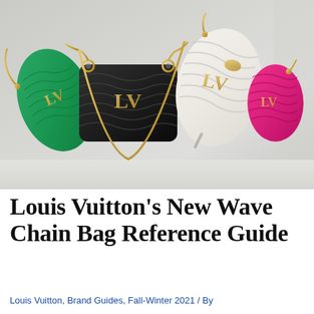[Figure (photo): Four Louis Vuitton New Wave Chain Bags displayed in a row against a neutral grey background: green quilted bag on far left, black quilted bag in center-left, white/cream quilted bag leaning center-right, and hot pink quilted bag on far right. All bags feature gold LV logo hardware and gold chain straps with diagonal wave quilting pattern.]
Louis Vuitton's New Wave Chain Bag Reference Guide
Louis Vuitton, Brand Guides, Fall-Winter 2021 / By